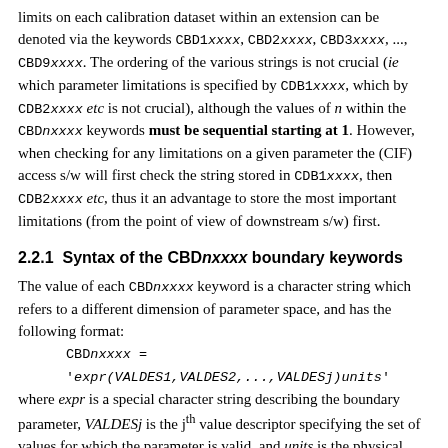limits on each calibration dataset within an extension can be denoted via the keywords CBD1xxxx, CBD2xxxx, CBD3xxxx, ..., CBD9xxxx. The ordering of the various strings is not crucial (ie which parameter limitations is specified by CDB1xxxx, which by CDB2xxxx etc is not crucial), although the values of n within the CBDnxxxx keywords must be sequential starting at 1. However, when checking for any limitations on a given parameter the (CIF) access s/w will first check the string stored in CDB1xxxx, then CDB2xxxx etc, thus it an advantage to store the most important limitations (from the point of view of downstream s/w) first.
2.2.1  Syntax of the CBDnxxxx boundary keywords
The value of each CBDnxxxx keyword is a character string which refers to a different dimension of parameter space, and has the following format:
    CBDnxxxx = 'expr(VALDES1,VALDES2,...,VALDESj)units'
where expr is a special character string describing the boundary parameter, VALDESj is the jth value descriptor specifying the set of values for which the parameter is valid, and units is the physical units of VALDESj. The allowed values of expr are listed in Section 2.2.2, and the allowed values of the units string are as for the TUNITSnnn keyword and summarized in OGIP/93-001 (George & Angelini 1994).